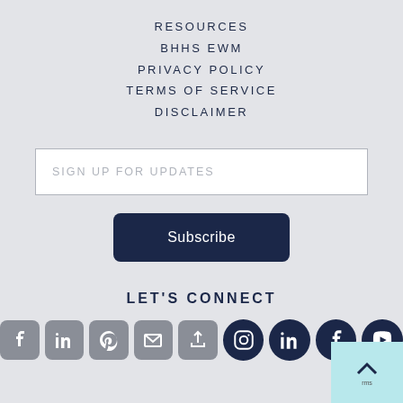RESOURCES
BHHS EWM
PRIVACY POLICY
TERMS OF SERVICE
DISCLAIMER
SIGN UP FOR UPDATES
Subscribe
LET'S CONNECT
[Figure (illustration): Social media icons row: Facebook (grey box), LinkedIn (grey box), Pinterest (grey box), Email (grey box), Share (grey box), Instagram (dark circle), LinkedIn (dark circle), Facebook (dark circle), YouTube (dark circle)]